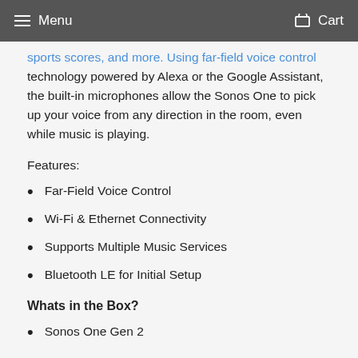Menu   Cart
sports scores, and more. Using far-field voice control technology powered by Alexa or the Google Assistant, the built-in microphones allow the Sonos One to pick up your voice from any direction in the room, even while music is playing.
Features:
Far-Field Voice Control
Wi-Fi & Ethernet Connectivity
Supports Multiple Music Services
Bluetooth LE for Initial Setup
Whats in the Box?
Sonos One Gen 2